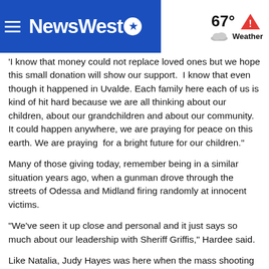NewsWest9 | 67° Weather
'I know that money could not replace loved ones but we hope this small donation will show our support.  I know that even though it happened in Uvalde. Each family here each of us is kind of hit hard because we are all thinking about our children, about our grandchildren and about our community. It could happen anywhere, we are praying for peace on this earth. We are praying  for a bright future for our children."
Many of those giving today, remember being in a similar situation years ago, when a gunman drove through the streets of Odessa and Midland firing randomly at innocent victims.
"We've seen it up close and personal and it just says so much about our leadership with Sheriff Griffis," Hardee said.
Like Natalia, Judy Hayes was here when the mass shooting happened in 2019. "There were several people I knew that were affected by that," Hayes said.